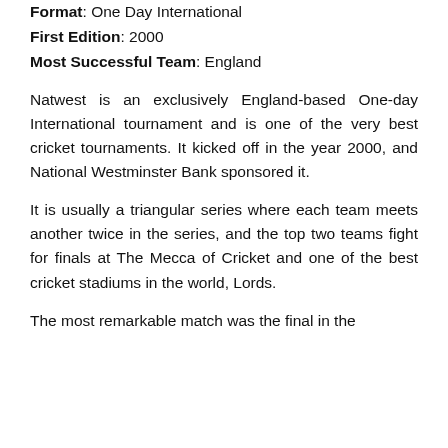Format: One Day International
First Edition: 2000
Most Successful Team: England
Natwest is an exclusively England-based One-day International tournament and is one of the very best cricket tournaments. It kicked off in the year 2000, and National Westminster Bank sponsored it.
It is usually a triangular series where each team meets another twice in the series, and the top two teams fight for finals at The Mecca of Cricket and one of the best cricket stadiums in the world, Lords.
The most remarkable match was the final in the